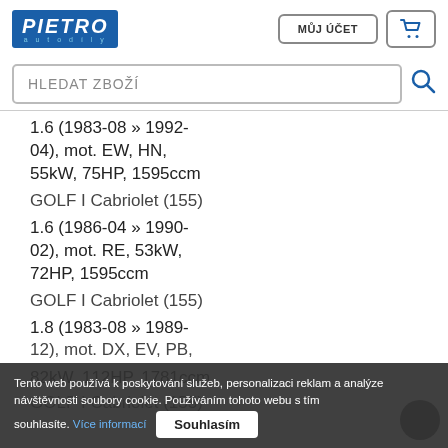[Figure (logo): PIETRO autodily logo - blue rectangle with white italic PIETRO text and blue subtitle 'autodily']
MŮJ ÚČET
[Figure (other): Shopping cart icon button]
HLEDAT ZBOŽÍ
1.6 (1983-08 » 1992-04), mot. EW, HN, 55kW, 75HP, 1595ccm
GOLF I Cabriolet (155)
1.6 (1986-04 » 1990-02), mot. RE, 53kW, 72HP, 1595ccm
GOLF I Cabriolet (155)
1.8 (1983-08 » 1989-12), mot. DX, EV, PB, 82kW, 112HP, 1781ccm
GOLF I Cabriolet (155)
Tento web používá k poskytování služeb, personalizaci reklam a analýze návštěvnosti soubory cookie. Používáním tohoto webu s tím souhlasíte. Více informací